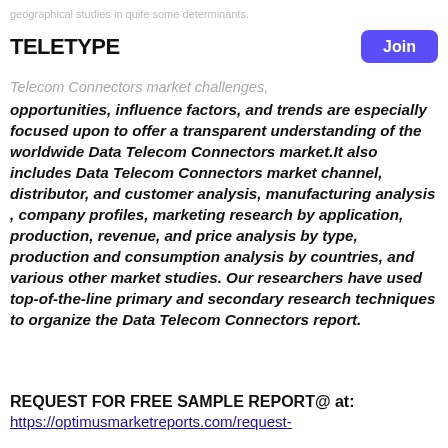geographical studies in quite some determinants.
teletype
Telecom Connectors market challenges,
opportunities, influence factors, and trends are especially focused upon to offer a transparent understanding of the worldwide Data Telecom Connectors market.It also includes Data Telecom Connectors market channel, distributor, and customer analysis, manufacturing analysis , company profiles, marketing research by application, production, revenue, and price analysis by type, production and consumption analysis by countries, and various other market studies. Our researchers have used top-of-the-line primary and secondary research techniques to organize the Data Telecom Connectors report.
REQUEST FOR FREE SAMPLE REPORT@ at:
https://optimusmarketreports.com/request-